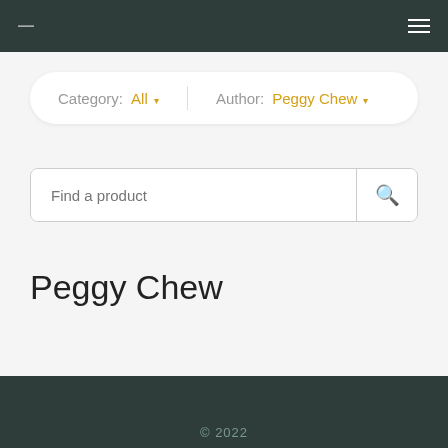— ≡
Category: All ▾   Author: Peggy Chew ▾
Find a product
Peggy Chew
© 2022